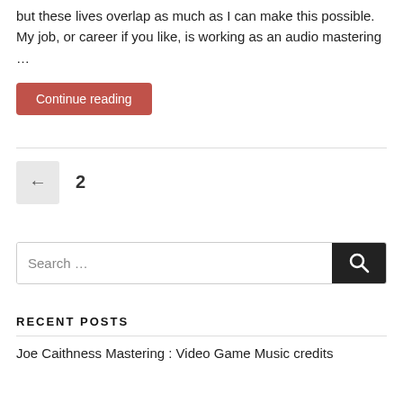but these lives overlap as much as I can make this possible. My job, or career if you like, is working as an audio mastering …
Continue reading
← 2
Search …
RECENT POSTS
Joe Caithness Mastering : Video Game Music credits